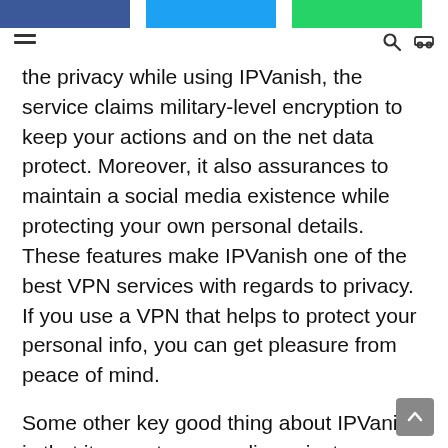[Navigation bar with social share buttons and menu icons]
the privacy while using IPVanish, the service claims military-level encryption to keep your actions and on the net data protect. Moreover, it also assurances to maintain a social media existence while protecting your own personal details. These features make IPVanish one of the best VPN services with regards to privacy. If you use a VPN that helps to protect your personal info, you can get pleasure from peace of mind.
Some other key good thing about IPVanish is that it aspects your online privateness. The company would not track your https://www.ipvanishreview.net actions once you leave a site. The company likewise never